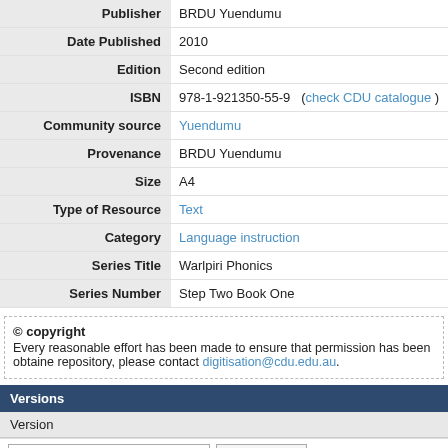| Field | Value |
| --- | --- |
| Publisher | BRDU Yuendumu |
| Date Published | 2010 |
| Edition | Second edition |
| ISBN | 978-1-921350-55-9   (check CDU catalogue ) |
| Community source | Yuendumu |
| Provenance | BRDU Yuendumu |
| Size | A4 |
| Type of Resource | Text |
| Category | Language instruction |
| Series Title | Warlpiri Phonics |
| Series Number | Step Two Book One |
© copyright
Every reasonable effort has been made to ensure that permission has been obtained repository, please contact digitisation@cdu.edu.au.
Versions
Version
Wed, 07 Nov 2018  19:47:55 CST   View Version